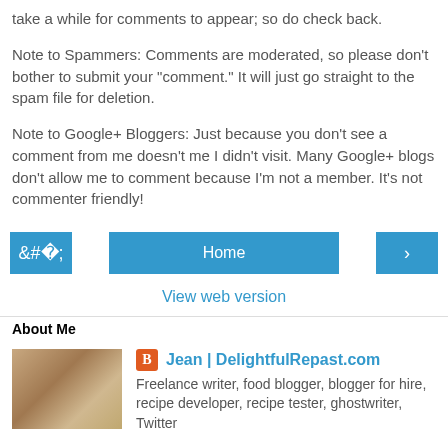take a while for comments to appear; so do check back.
Note to Spammers: Comments are moderated, so please don't bother to submit your "comment." It will just go straight to the spam file for deletion.
Note to Google+ Bloggers: Just because you don't see a comment from me doesn't me I didn't visit. Many Google+ blogs don't allow me to comment because I'm not a member. It's not commenter friendly!
Home
View web version
About Me
Jean | DelightfulRepast.com
Freelance writer, food blogger, blogger for hire, recipe developer, recipe tester, ghostwriter, Twitter